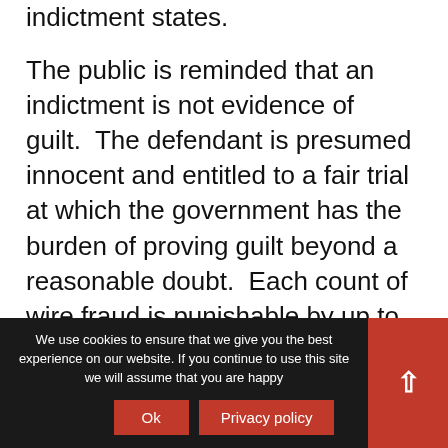indictment states.
The public is reminded that an indictment is not evidence of guilt.  The defendant is presumed innocent and entitled to a fair trial at which the government has the burden of proving guilt beyond a reasonable doubt.  Each count of wire fraud is punishable by up to 20 years in federal prison.  If convicted, the Court must impose a reasonable sentence under federal statutes and the advisory U.S. Sentencing Guidelines.
Anyone with information about attempted fraud involving COVID-19 can report it to the Department
We use cookies to ensure that we give you the best experience on our website. If you continue to use this site we will assume that you are happy